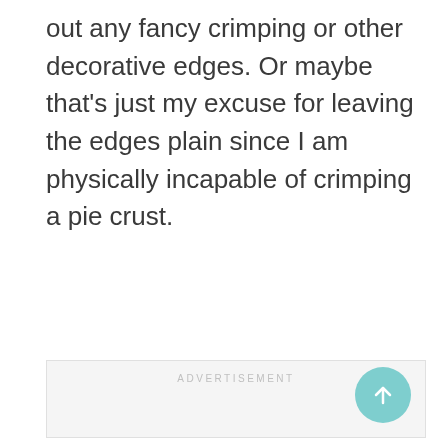out any fancy crimping or other decorative edges. Or maybe that's just my excuse for leaving the edges plain since I am physically incapable of crimping a pie crust.
[Figure (other): Advertisement placeholder box with light gray background and 'ADVERTISEMENT' label at top center, and a teal circular scroll-to-top button in the bottom right corner.]